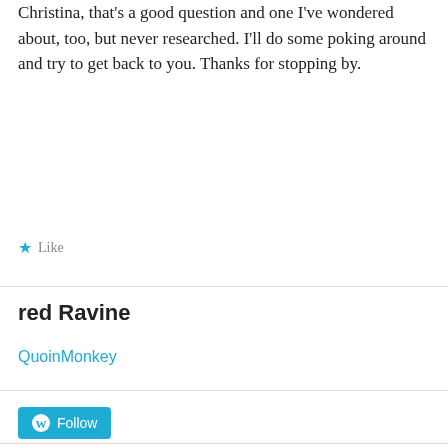Christina, that's a good question and one I've wondered about, too, but never researched. I'll do some poking around and try to get back to you. Thanks for stopping by.
Like
red Ravine
QuoinMonkey
[Figure (other): WordPress Follow button with WordPress logo icon]
Follow